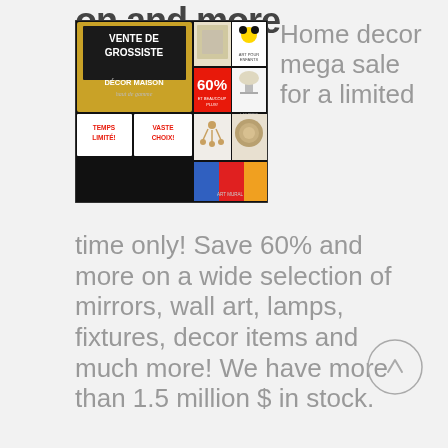on and more
[Figure (photo): Promotional collage image for a home decor wholesale sale event — 'VENTE DE GROSSISTE', 'DÉCOR MAISON', showing mirrors, chandeliers, wall art, lamps, 60% discount, and French text labels]
Home decor mega sale for a limited time only! Save 60% and more on a wide selection of mirrors, wall art, lamps, fixtures, decor items and much more! We have more than 1.5 million $ in stock.